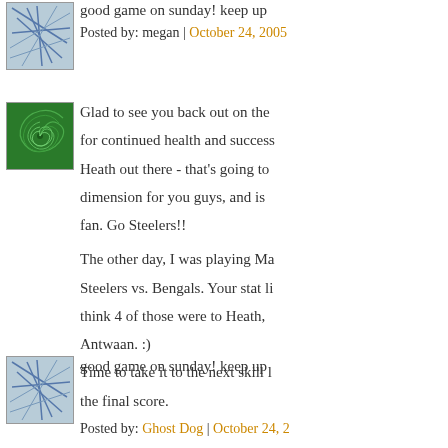good game on sunday! keep up
Posted by: megan | October 24, 2005
[Figure (illustration): Green spiral pattern avatar image]
Glad to see you back out on the field... for continued health and success... Heath out there - that's going to add a dimension for you guys, and is... fan. Go Steelers!!
The other day, I was playing Madden Steelers vs. Bengals. Your stat li... think 4 of those were to Heath, ... Antwaan. :)
Time to take it to the next skill l... the final score.
Posted by: Ghost Dog | October 24, 2...
[Figure (illustration): Blue lines/abstract pattern avatar image]
good game on sunday! keep up